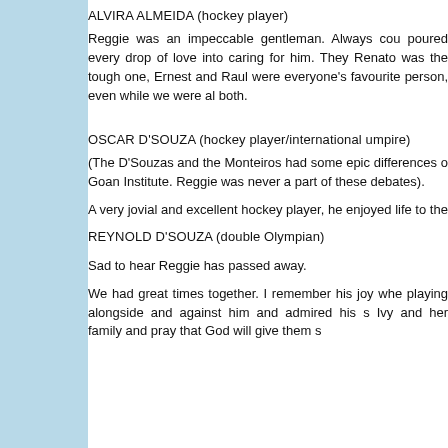ALVIRA ALMEIDA (hockey player)
Reggie was an impeccable gentleman. Always cou poured every drop of love into caring for him. They Renato was the tough one, Ernest and Raul were everyone's favourite person, even while we were al both.
OSCAR D'SOUZA (hockey player/international umpire)
(The D'Souzas and the Monteiros had some epic differences o Goan Institute. Reggie was never a part of these debates).
A very jovial and excellent hockey player, he enjoyed life to the
REYNOLD D'SOUZA (double Olympian)
Sad to hear Reggie has passed away.
We had great times together. I remember his joy whe playing alongside and against him and admired his s Ivy and her family and pray that God will give them s